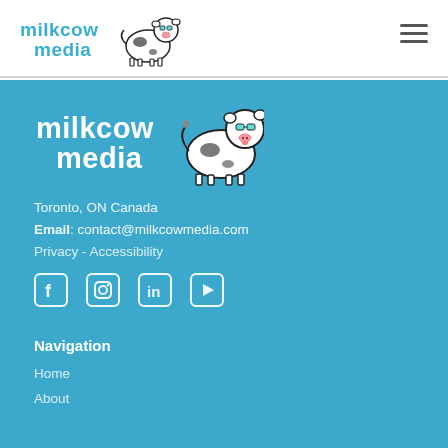[Figure (logo): Milkcow Media logo in website header — text 'milkcow media' in blue with cartoon cow illustration]
[Figure (other): Hamburger menu icon (three horizontal lines) in top-right of header]
[Figure (logo): Milkcow Media logo in footer — text 'milkcow media' in white/blue with cartoon cow illustration, larger size]
Toronto, ON Canada
Email: contact@milkcowmedia.com
Privacy - Accessibility
[Figure (other): Social media icons row: Facebook, Instagram, LinkedIn, YouTube — white outlined square icons]
Navigation
Home
About